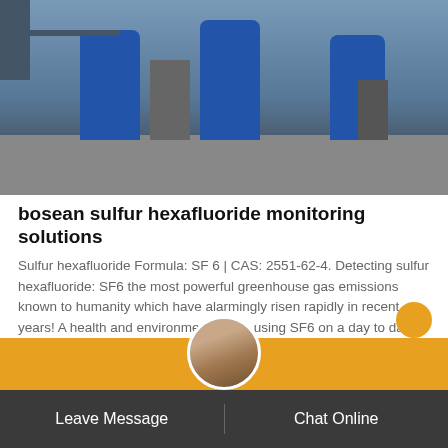[Figure (photo): Workers in blue coveralls working with industrial equipment, likely SF6 gas handling equipment in an industrial setting]
bosean sulfur hexafluoride monitoring solutions
Sulfur hexafluoride Formula: SF 6 | CAS: 2551-62-4. Detecting sulfur hexafluoride: SF6 the most powerful greenhouse gas emissions known to humanity which have alarmingly risen rapidly in recent years! A health and environmental risk, using SF6 on a day to day basics. Cheap and non-flammable, SF6 is a colourless, odourless, synthetic gas.Electric Power Systems Partnership | Fluorinated Gas ...
Get Price
Leave Message
Chat Online